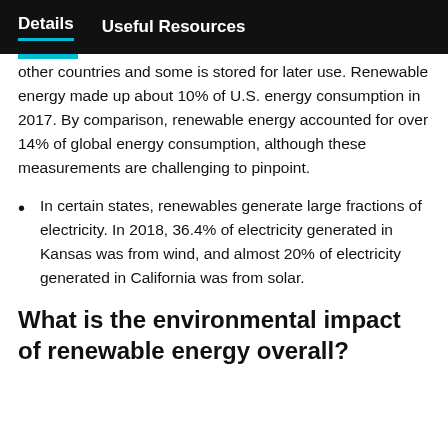Details    Useful Resources
other countries and some is stored for later use. Renewable energy made up about 10% of U.S. energy consumption in 2017. By comparison, renewable energy accounted for over 14% of global energy consumption, although these measurements are challenging to pinpoint.
In certain states, renewables generate large fractions of electricity. In 2018, 36.4% of electricity generated in Kansas was from wind, and almost 20% of electricity generated in California was from solar.
What is the environmental impact of renewable energy overall?